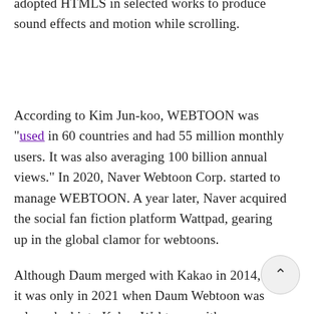adopted HTMLS in selected works to produce sound effects and motion while scrolling.
According to Kim Jun-koo, WEBTOON was "used in 60 countries and had 55 million monthly users. It was also averaging 100 billion annual views." In 2020, Naver Webtoon Corp. started to manage WEBTOON. A year later, Naver acquired the social fan fiction platform Wattpad, gearing up in the global clamor for webtoons.
Although Daum merged with Kakao in 2014, it was only in 2021 when Daum Webtoon was relaunched into Kakao Webtoon, with new features such as AI-powered recommendations,